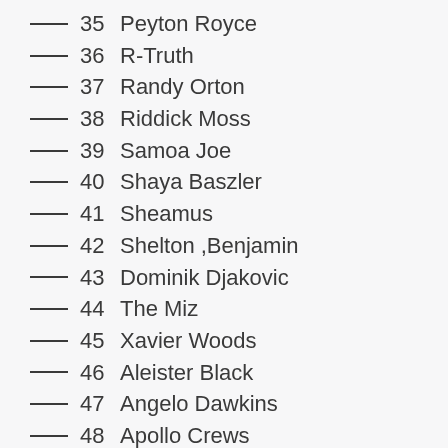___ 35 Peyton Royce
___ 36 R-Truth
___ 37 Randy Orton
___ 38 Riddick Moss
___ 39 Samoa Joe
___ 40 Shaya Baszler
___ 41 Sheamus
___ 42 Shelton ,Benjamin
___ 43 Dominik Djakovic
___ 44 The Miz
___ 45 Xavier Woods
___ 46 Aleister Black
___ 47 Angelo Dawkins
___ 48 Apollo Crews
___ 49 Bayley
___ 50 Bianca Belair
___ 51 Bia E...